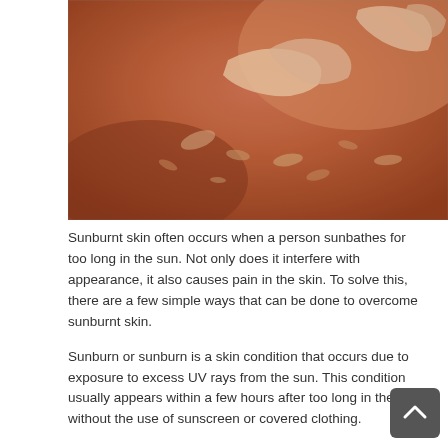[Figure (photo): Close-up photograph of sunburnt skin on a shoulder or back, showing peeling and flaking skin with a reddish-brown tone.]
Sunburnt skin often occurs when a person sunbathes for too long in the sun. Not only does it interfere with appearance, it also causes pain in the skin. To solve this, there are a few simple ways that can be done to overcome sunburnt skin.
Sunburn or sunburn is a skin condition that occurs due to exposure to excess UV rays from the sun. This condition usually appears within a few hours after too long in the sun without the use of sunscreen or covered clothing.